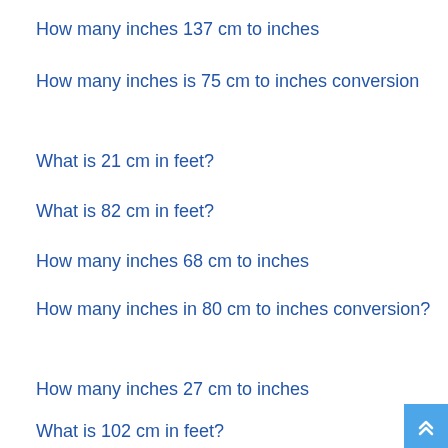How many inches 137 cm to inches
How many inches is 75 cm to inches conversion
What is 21 cm in feet?
What is 82 cm in feet?
How many inches 68 cm to inches
How many inches in 80 cm to inches conversion?
How many inches 27 cm to inches
What is 102 cm in feet?